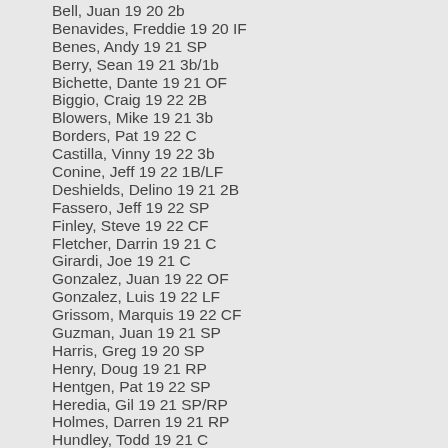Bell, Juan 19 20 2b
Benavides, Freddie 19 20 IF
Benes, Andy 19 21 SP
Berry, Sean 19 21 3b/1b
Bichette, Dante 19 21 OF
Biggio, Craig 19 22 2B
Blowers, Mike 19 21 3b
Borders, Pat 19 22 C
Castilla, Vinny 19 22 3b
Conine, Jeff 19 22 1B/LF
Deshields, Delino 19 21 2B
Fassero, Jeff 19 22 SP
Finley, Steve 19 22 CF
Fletcher, Darrin 19 21 C
Girardi, Joe 19 21 C
Gonzalez, Juan 19 22 OF
Gonzalez, Luis 19 22 LF
Grissom, Marquis 19 22 CF
Guzman, Juan 19 21 SP
Harris, Greg 19 20 SP
Henry, Doug 19 21 RP
Hentgen, Pat 19 22 SP
Heredia, Gil 19 21 SP/RP
Holmes, Darren 19 21 RP
Hundley, Todd 19 21 C